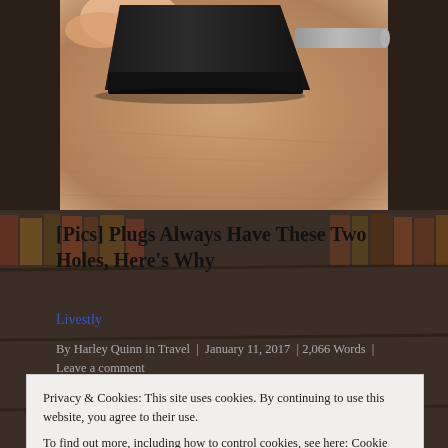[Figure (photo): Close-up photo of a hand holding an electrical plug, showing two small holes at the tip of the plug prongs, with a blurred granite/stone surface in the background.]
[Pics] Plugs Always Have These Two Holes, Here's Why
Livestly
By Harley Quinn in Travel | January 11, 2017 | 2,066 Words | Leave a comment
Privacy & Cookies: This site uses cookies. By continuing to use this website, you agree to their use.
To find out more, including how to control cookies, see here: Cookie Policy
Close and accept
Growing Pain